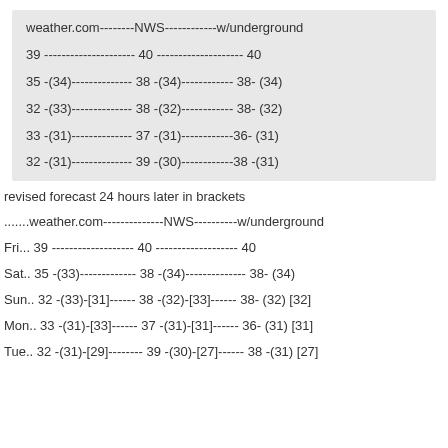| weather.com | NWS | w/underground |
| --- | --- | --- |
| 39 | 40 | 40 |
| 35 -(34) | 38 -(34) | 38- (34) |
| 32 -(33) | 38 -(32) | 38- (32) |
| 33 -(31) | 37 -(31) | 36- (31) |
| 32 -(31) | 39 -(30) | 38 -(31) |
revised forecast 24 hours later in brackets
| ...weather.com | NWS | w/underground |
| --- | --- | --- |
| Fri... 39 | 40 | 40 |
| Sat.. 35 -(33) | 38 -(34) | 38- (34) |
| Sun.. 32 -(33)-[31] | 38 -(32)-[33] | 38- (32) [32] |
| Mon.. 33 -(31)-[33] | 37 -(31)-[31] | 36- (31) [31] |
| Tue.. 32 -(31)-[29] | 39 -(30)-[27] | 38 -(31) [27] |